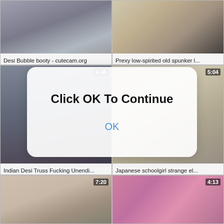[Figure (screenshot): Video thumbnail grid with 6 video thumbnails in 2 columns and 3 rows, each with title captions. An 'Click OK To Continue' modal dialog overlays the center of the page.]
Desi Bubble booty - cutecam.org
Prexy low-spirited old spunker l...
Indian Desi Truss Fucking Unendi...
Japanese schoolgirl strange el...